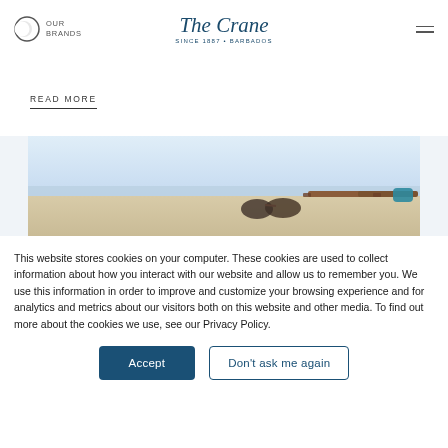OUR BRANDS | The Crane SINCE 1887 • BARBADOS
READ MORE
[Figure (photo): Beach scene with sand, sky, and beach bag with sunglasses in the foreground]
This website stores cookies on your computer. These cookies are used to collect information about how you interact with our website and allow us to remember you. We use this information in order to improve and customize your browsing experience and for analytics and metrics about our visitors both on this website and other media. To find out more about the cookies we use, see our Privacy Policy.
Accept
Don't ask me again